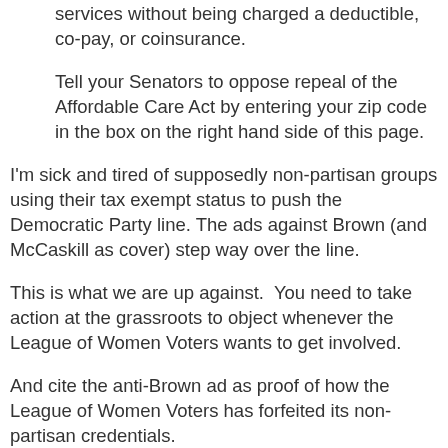services without being charged a deductible, co-pay, or coinsurance.
Tell your Senators to oppose repeal of the Affordable Care Act by entering your zip code in the box on the right hand side of this page.
I'm sick and tired of supposedly non-partisan groups using their tax exempt status to push the Democratic Party line. The ads against Brown (and McCaskill as cover) step way over the line.
This is what we are up against. You need to take action at the grassroots to object whenever the League of Women Voters wants to get involved.
And cite the anti-Brown ad as proof of how the League of Women Voters has forfeited its non-partisan credentials.
You can contact the League here.
Update: Brown's campaign has circulated the following e-mail